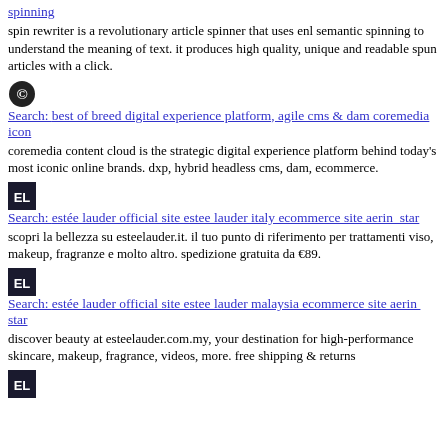spinning — spin rewriter is a revolutionary article spinner that uses enl semantic spinning to understand the meaning of text. it produces high quality, unique and readable spun articles with a click.
Search: best of breed digital experience platform, agile cms & dam coremedia icon — coremedia content cloud is the strategic digital experience platform behind today's most iconic online brands. dxp, hybrid headless cms, dam, ecommerce.
Search: estée lauder official site estee lauder italy ecommerce site aerin star — scopri la bellezza su esteelauder.it. il tuo punto di riferimento per trattamenti viso, makeup, fragranze e molto altro. spedizione gratuita da €89.
Search: estée lauder official site estee lauder malaysia ecommerce site aerin star — discover beauty at esteelauder.com.my, your destination for high-performance skincare, makeup, fragrance, videos, more. free shipping & returns